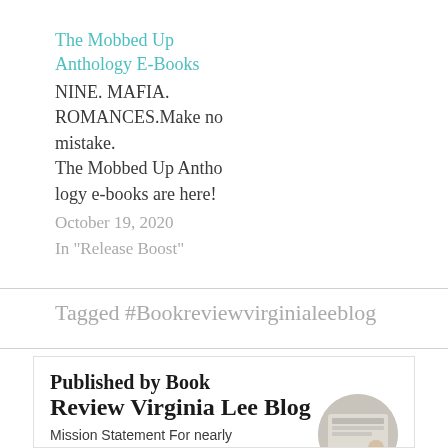The Mobbed Up Anthology E-Books
NINE. MAFIA. ROMANCES.Make no mistake.
The Mobbed Up Anthology e-books are here!
October 19, 2020
In "Release Boost"
Tagged #Bookreviewvirginialeeblog
Published by Book Review Virginia Lee Blog
Mission Statement For nearly four years, Book Review